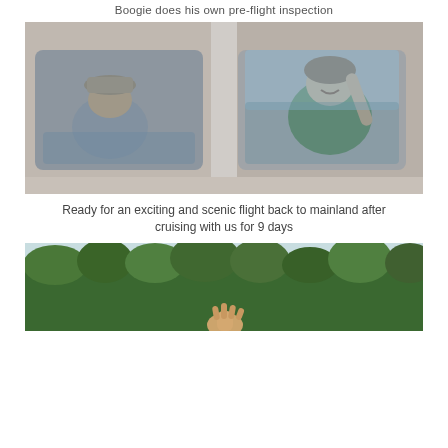Boogie does his own pre-flight inspection
[Figure (photo): Two people sitting inside a small aircraft, viewed through the plane windows. One person on the left wearing a grey shirt and hat, another on the right wearing a green shirt, smiling and leaning out the window.]
Ready for an exciting and scenic flight back to mainland after cruising with us for 9 days
[Figure (photo): Outdoor scene with a tree line in the background and a hand waving in the foreground, partially visible at the bottom of the frame.]